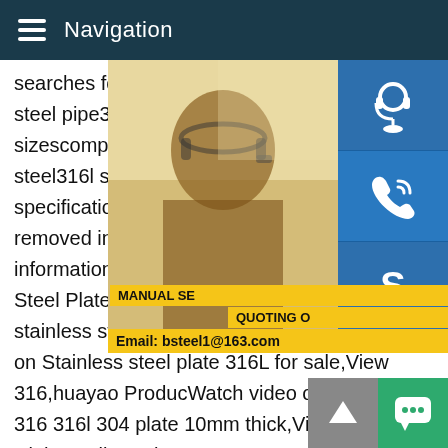Navigation
searches for 316l stainless steel plate with steel pipe316l stainless steel specification sizescomposition of stainless steel 316lde steel316l stainless steel astm316l stainles specification316l stainless steel tubing su removed in response to a notice of local la information,please see here.12345NextVi Steel Plate with High Quality Watch video stainless steel plate 316 316l manufactur on Stainless steel plate 316L for sale,View 316,huayao ProducWatch video on 304 316 stainless steel 201 316 316l 304 plate 10mm thick,View stainless steelWatch video on High Quality Ral 9006 Ss304 Sus 304 316 316l Color Coated Stainless St4 months agoSee more videos of 316L Stainless Steel Plate with High Quality316/316L Stainless Steel - Penn StainlessPenn Stainless inventory includes 316/316L (UNS
[Figure (photo): Customer service woman wearing headset, photo overlay on right side of content]
[Figure (infographic): Sidebar with customer service icon (blue), phone icon (blue), and Skype icon (blue). Below: yellow bar with MANUAL SERVICE QUOTING ON text and email bsteel1@163.com]